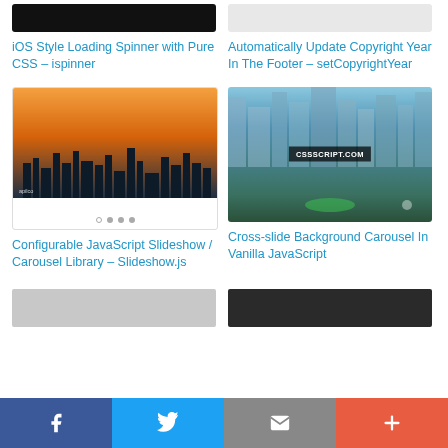[Figure (screenshot): Black image thumbnail for iOS Style Loading Spinner article]
iOS Style Loading Spinner with Pure CSS – ispinner
[Figure (screenshot): Light gray/white image thumbnail for Automatically Update Copyright Year article]
Automatically Update Copyright Year In The Footer – setCopyrightYear
[Figure (screenshot): Slideshow carousel showing city skyline at sunset with navigation dots]
Configurable JavaScript Slideshow / Carousel Library – Slideshow.js
[Figure (screenshot): Cross-slide background carousel showing dancer on rooftop with city skyline and CSSSCRIPT.COM watermark]
Cross-slide Background Carousel In Vanilla JavaScript
[Figure (screenshot): Partial thumbnail at bottom left, light colored]
[Figure (screenshot): Partial thumbnail at bottom right, dark colored]